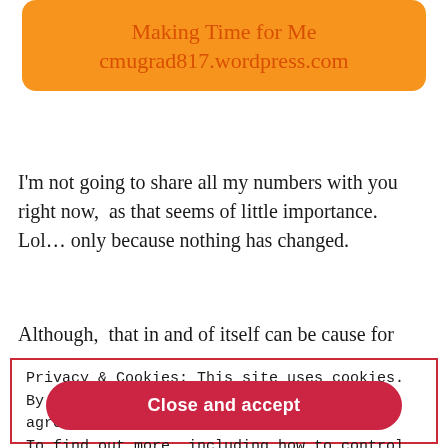Making Time for Me
cmugrad817.wordpress.com
I'm not going to share all my numbers with you right now,  as that seems of little importance.   Lol… only because nothing has changed.
Although,  that in and of itself can be cause for
Privacy & Cookies: This site uses cookies. By continuing to use this website, you agree to their use.
To find out more, including how to control cookies, see here: Cookie Policy
Close and accept